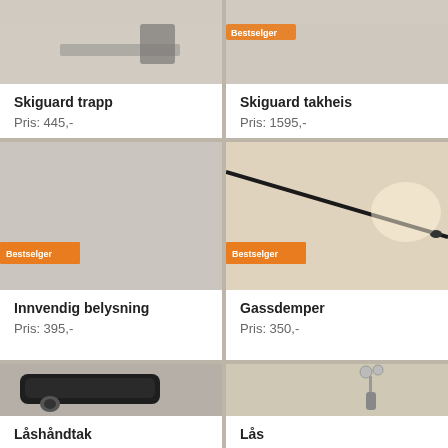[Figure (photo): Skiguard trapp product image (partially cropped at top)]
Skiguard trapp
Pris: 445,-
[Figure (photo): Skiguard takheis product image with Bestselger badge (partially cropped at top)]
Skiguard takheis
Pris: 1595,-
[Figure (photo): Innvendig belysning product image with Bestselger badge, light gray background]
Innvendig belysning
Pris: 395,-
[Figure (photo): Gassdemper product image with Bestselger badge, black rod on beige background]
Gassdemper
Pris: 350,-
[Figure (photo): Låshåndtak product image, black door handle]
Låshåndtak
Pris: 695,-
[Figure (photo): Lås product image, lock with keys]
Lås
Pris: 495,-